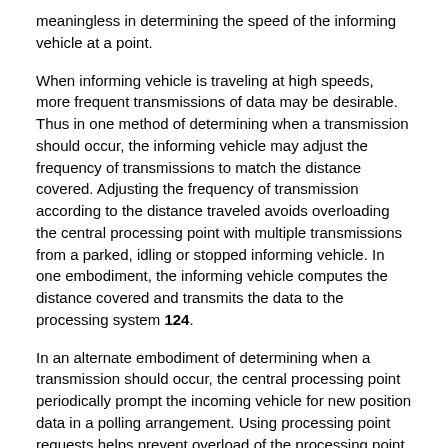meaningless in determining the speed of the informing vehicle at a point.
When informing vehicle is traveling at high speeds, more frequent transmissions of data may be desirable. Thus in one method of determining when a transmission should occur, the informing vehicle may adjust the frequency of transmissions to match the distance covered. Adjusting the frequency of transmission according to the distance traveled avoids overloading the central processing point with multiple transmissions from a parked, idling or stopped informing vehicle. In one embodiment, the informing vehicle computes the distance covered and transmits the data to the processing system 124.
In an alternate embodiment of determining when a transmission should occur, the central processing point periodically prompt the incoming vehicle for new position data in a polling arrangement. Using processing point requests helps prevent overload of the processing point. However, such a system also relies on two way communications. Thus, informing vehicle would have to be designed to receive the prompt signals.